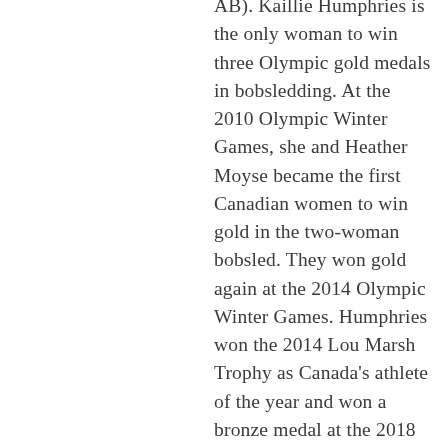AB). Kaillie Humphries is the only woman to win three Olympic gold medals in bobsledding. At the 2010 Olympic Winter Games, she and Heather Moyse became the first Canadian women to win gold in the two-woman bobsled. They won gold again at the 2014 Olympic Winter Games. Humphries won the 2014 Lou Marsh Trophy as Canada's athlete of the year and won a bronze medal at the 2018 Olympic Winter Games. She was also one of the first two women to compete in an